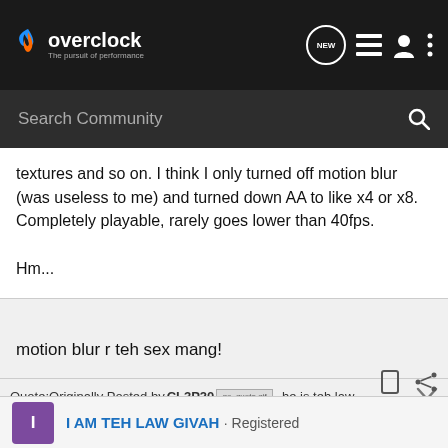overclock.net — The pursuit of performance
textures and so on. I think I only turned off motion blur (was useless to me) and turned down AA to like x4 or x8. Completely playable, rarely goes lower than 40fps.

Hm...
motion blur r teh sex mang!
Quote:Originally Posted by CL3P20 [go_quote.gif] ..he is teh law..
[biggrin.gif] you know what happens if you get on the wrong side of
I AM TEH LAW GIVAH · Registered